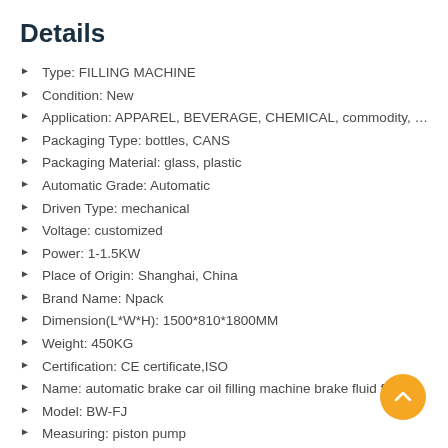Details
Type: FILLING MACHINE
Condition: New
Application: APPAREL, BEVERAGE, CHEMICAL, commodity, Food, M...
Packaging Type: bottles, CANS
Packaging Material: glass, plastic
Automatic Grade: Automatic
Driven Type: mechanical
Voltage: customized
Power: 1-1.5KW
Place of Origin: Shanghai, China
Brand Name: Npack
Dimension(L*W*H): 1500*810*1800MM
Weight: 450KG
Certification: CE certificate,ISO
Name: automatic brake car oil filling machine brake fluid fi...
Model: BW-FJ
Measuring: piston pump